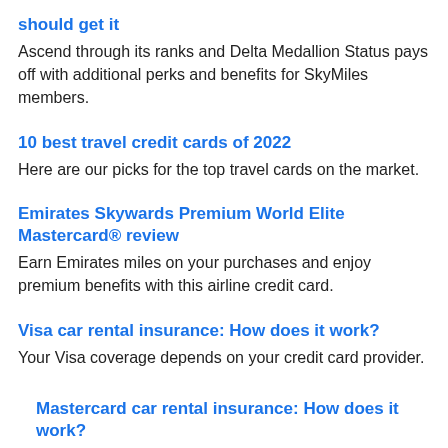should get it
Ascend through its ranks and Delta Medallion Status pays off with additional perks and benefits for SkyMiles members.
10 best travel credit cards of 2022
Here are our picks for the top travel cards on the market.
Emirates Skywards Premium World Elite Mastercard® review
Earn Emirates miles on your purchases and enjoy premium benefits with this airline credit card.
Visa car rental insurance: How does it work?
Your Visa coverage depends on your credit card provider.
Mastercard car rental insurance: How does it work?